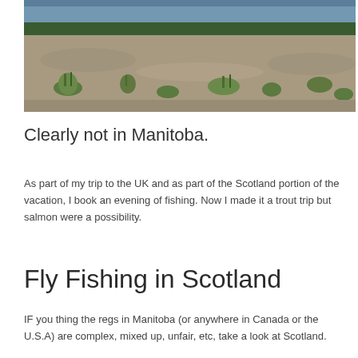[Figure (photo): Landscape photo of a river scene in Scotland, showing a pebble/gravel bank in the foreground with tufts of green grass, and calm blue water of a river in the background.]
Clearly not in Manitoba.
As part of my trip to the UK and as part of the Scotland portion of the vacation, I book an evening of fishing. Now I made it a trout trip but salmon were a possibility.
Fly Fishing in Scotland
IF you thing the regs in Manitoba (or anywhere in Canada or the U.S.A) are complex, mixed up, unfair, etc, take a look at Scotland.